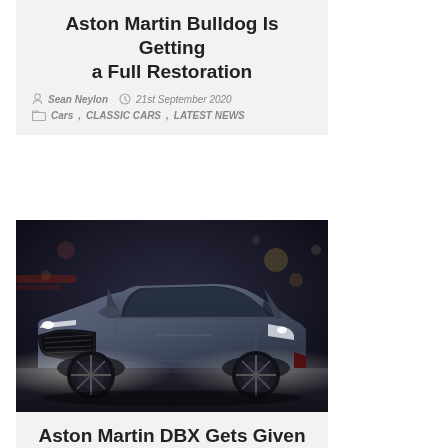Aston Martin Bulldog Is Getting a Full Restoration
Sean Neylon   21st September 2020
Cars, CLASSIC CARS, LATEST NEWS
[Figure (photo): Dark gray Aston Martin DBX SUV photographed at night in an urban setting with bokeh background lighting]
Aston Martin DBX Gets Given A Dark Makeover
Callum Jones   25th February 2020
4x4 Cars, Aston Martin, Cars, LATEST NEWS